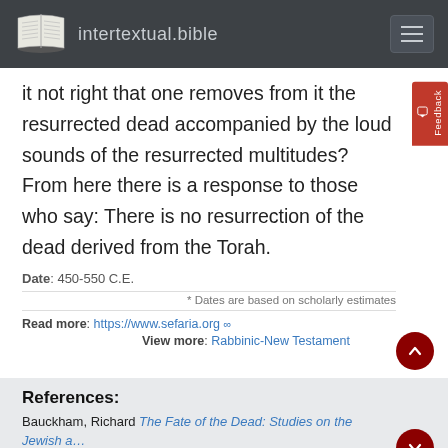intertextual.bible
it not right that one removes from it the resurrected dead accompanied by the loud sounds of the resurrected multitudes? From here there is a response to those who say: There is no resurrection of the dead derived from the Torah.
Date: 450-550 C.E.
* Dates are based on scholarly estimates
Read more: https://www.sefaria.org
View more: Rabbinic-New Testament
References:
Bauckham, Richard The Fate of the Dead: Studies on the Jewish and Christian Apocalypses (pp. 269-289) Brill, 1998